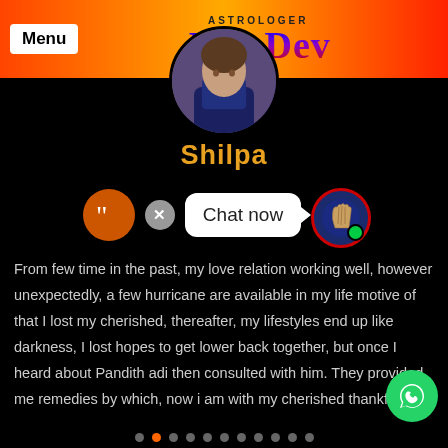Menu | ASTROLOGER RamDev
[Figure (photo): Circular profile photo of a person on black background]
Shilpa
[Figure (screenshot): Chat widget with orange quote icon, grey X close button, white 'Chat now' speech bubble, and palm/astrology icon with green online dot]
From few time in the past, my love relation working well, however unexpectedly, a few hurricane are available in my life motive of that I lost my cherished, thereafter, my lifestyles end up like darkness, I lost hopes to get lower back together, but once I heard about Pandith adi then consulted with him. They provided me remedies by which, now i am with my cherished thankfully
[Figure (other): WhatsApp green circle button with chat icon]
[Figure (other): Pagination dots row, second dot is orange (active)]